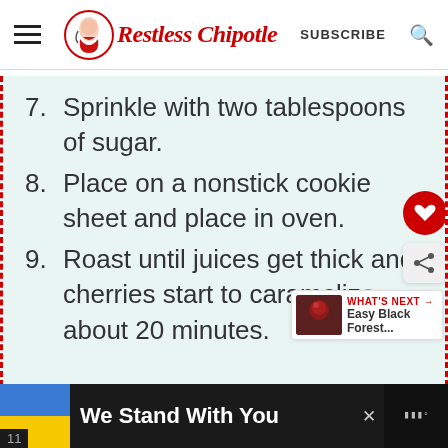Restless Chipotle — SUBSCRIBE
7. Sprinkle with two tablespoons of sugar.
8. Place on a nonstick cookie sheet and place in oven.
9. Roast until juices get thick and cherries start to caramelize about 20 minutes.
WHAT'S NEXT → Easy Black Forest...
We Stand With You